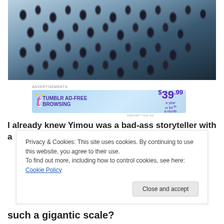[Figure (photo): A dense flock of birds photographed from above, showing many birds with spread wings in blue-grey tones against a dark background.]
Advertisements
[Figure (other): Tumblr Ad-Free Browsing advertisement banner. $39.99 a year or $4.99 a month.]
REPORT THIS AD
I already knew Yimou was a bad-ass storyteller with a
Privacy & Cookies: This site uses cookies. By continuing to use this website, you agree to their use.
To find out more, including how to control cookies, see here: Cookie Policy
Close and accept
such a gigantic scale?